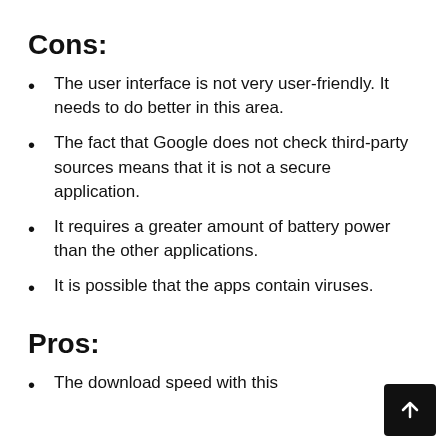Cons:
The user interface is not very user-friendly. It needs to do better in this area.
The fact that Google does not check third-party sources means that it is not a secure application.
It requires a greater amount of battery power than the other applications.
It is possible that the apps contain viruses.
Pros:
The download speed with this